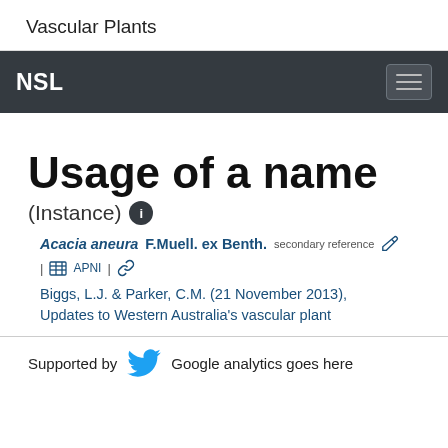Vascular Plants
NSL
Usage of a name
(Instance) ℹ
Acacia aneura F.Muell. ex Benth. secondary reference | APNI | Biggs, L.J. & Parker, C.M. (21 November 2013), Updates to Western Australia's vascular plant
Supported by  Google analytics goes here